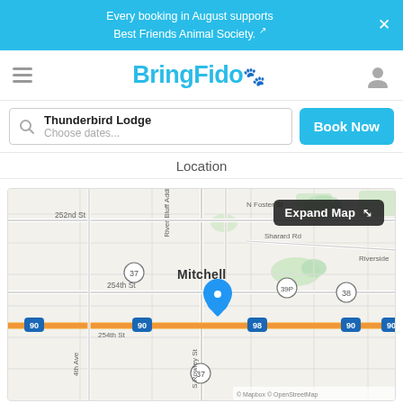Every booking in August supports Best Friends Animal Society. ↗
BringFido🐾
Thunderbird Lodge
Choose dates...
Book Now
Location
[Figure (map): Google Maps / OpenStreetMap view of Mitchell, SD area showing highway I-90 and location pin for Thunderbird Lodge. Streets labeled include 252nd St, 254th St, River Bluff Addition, N Foster St, Sharard Rd, S Rowley St, 4th Ave, Riverside. Route badges: 37, 39P, 38, 90, 98. © Mapbox © OpenStreetMap watermark.]